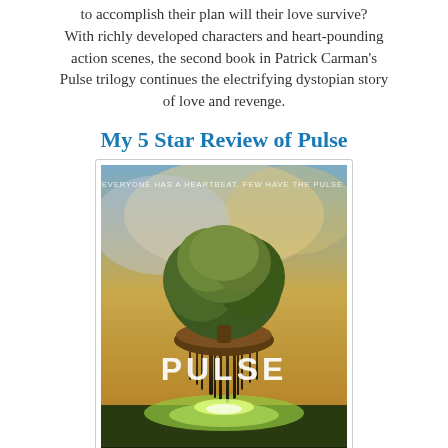to accomplish their plan will their love survive? With richly developed characters and heart-pounding action scenes, the second book in Patrick Carman's Pulse trilogy continues the electrifying dystopian story of love and revenge.
My 5 Star Review of Pulse
[Figure (illustration): Book cover of 'Pulse' by Patrick Carman. A floating tree with exposed roots dominates the center against a dramatic sky. Tagline reads 'EVERYONE HAS A HEARTBEAT. FEW HAVE THE PULSE.' At the bottom: 'NEW YORK TIMES BESTSELLING AUTHOR PATRICK CARMAN'.]